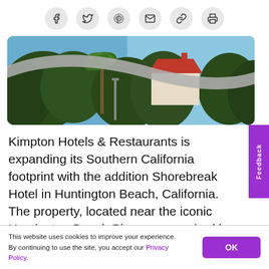[Figure (other): Social media sharing icons row: Facebook, Twitter, Pinterest, email, link, print — each in a light gray circle]
[Figure (photo): Outdoor photo showing lush green trees, palm trees, a curved concrete overhang or bridge, and part of a building with red-tile roof under a blue sky]
Kimpton Hotels & Restaurants is expanding its Southern California footprint with the addition Shorebreak Hotel in Huntington Beach, California. The property, located near the iconic Huntington Beach Pier, was acquired by DiamondRock Hospitality, which named Kimpton as the new hotel operator. This is Kimpton's eighth property in Southern California and its first in...
This website uses cookies to improve your experience. By continuing to use the site, you accept our Privacy Policy.